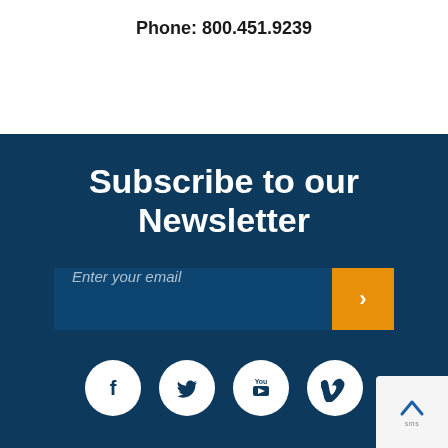Phone: 800.451.9239
Subscribe to our Newsletter
Enter your email
[Figure (infographic): Social media icons: Facebook, Twitter, YouTube, Vimeo — white circles on dark blue background]
[Figure (other): Back to top button with upward arrow]